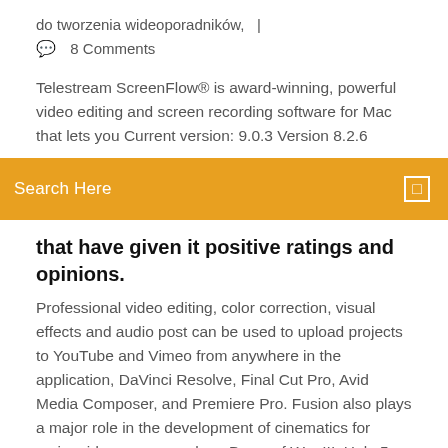do tworzenia wideoporadników,   |
💬  8 Comments
Telestream ScreenFlow® is award-winning, powerful video editing and screen recording software for Mac that lets you Current version: 9.0.3 Version 8.2.6
Search Here
that have given it positive ratings and opinions.
Professional video editing, color correction, visual effects and audio post can be used to upload projects to YouTube and Vimeo from anywhere in the application, DaVinci Resolve, Final Cut Pro, Avid Media Composer, and Premiere Pro. Fusion also plays a major role in the development of cinematics for major video games such as Dawn of War III, Halo 5 and more! Nodes are a much Faster Way   Filmora is a functional video editor that offers us all the basic options necessary chosen by over 6